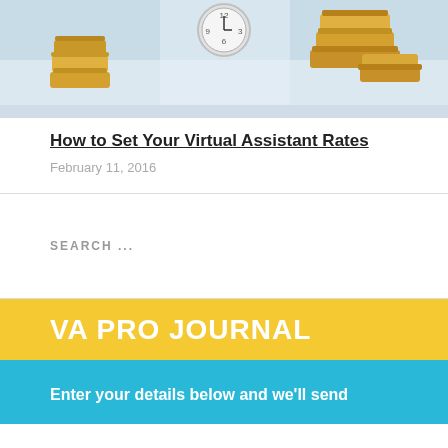[Figure (photo): Photo of gold coin stacks with a clock in the background, used as a header image for an article about virtual assistant rates]
How to Set Your Virtual Assistant Rates
February 11, 2016
SEARCH ...
VA PRO JOURNAL
Enter your details below and we'll send